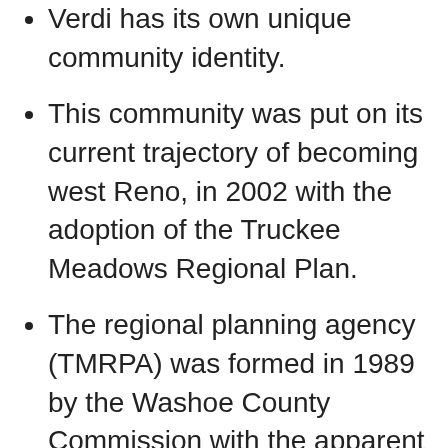Verdi has its own unique community identity.
This community was put on its current trajectory of becoming west Reno, in 2002 with the adoption of the Truckee Meadows Regional Plan.
The regional planning agency (TMRPA) was formed in 1989 by the Washoe County Commission with the apparent idea that Washoe County would follow the Clark County model with populous pockets of unincorporated lands. It was a counter response to the Reno City Council that was embarking upon legitimate and reasonable growth management steps.
“The most notable update was the 2002 plan. At that time, Reno that was led by a